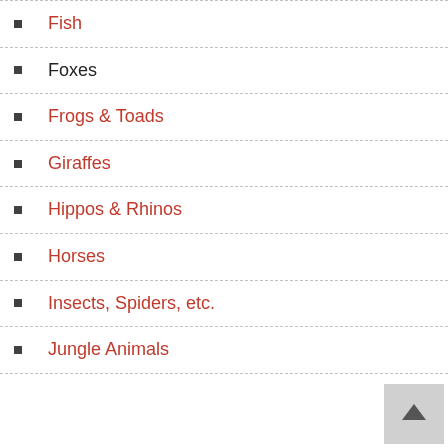Fish
Foxes
Frogs & Toads
Giraffes
Hippos & Rhinos
Horses
Insects, Spiders, etc.
Jungle Animals